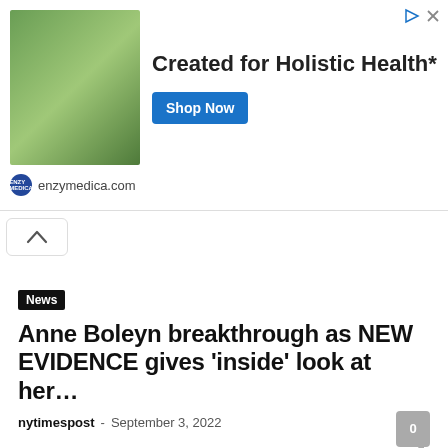[Figure (photo): Advertisement banner for enzymedica.com showing supplement bottles held against green tropical plant background, with headline 'Created for Holistic Health*' and 'Shop Now' button]
enzymedica.com
Anne Boleyn breakthrough as NEW EVIDENCE gives 'inside' look at her…
nytimespost  -  September 3, 2022